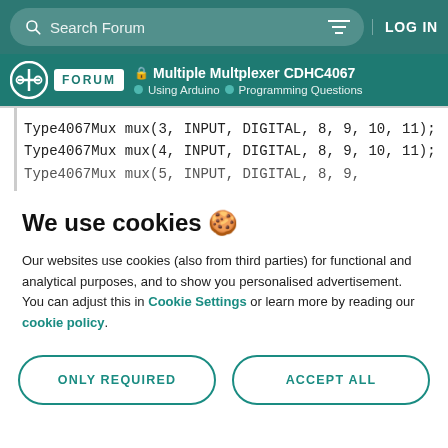Search Forum | LOG IN
Multiple Multplexer CDHC4067 | Using Arduino | Programming Questions
Type4067Mux mux(3, INPUT, DIGITAL, 8, 9, 10, 11);
Type4067Mux mux(4, INPUT, DIGITAL, 8, 9, 10, 11);
Type4067Mux mux(5, INPUT, DIGITAL, 8, 9, 10, 11);
We use cookies 🍪
Our websites use cookies (also from third parties) for functional and analytical purposes, and to show you personalised advertisement. You can adjust this in Cookie Settings or learn more by reading our cookie policy.
ONLY REQUIRED | ACCEPT ALL